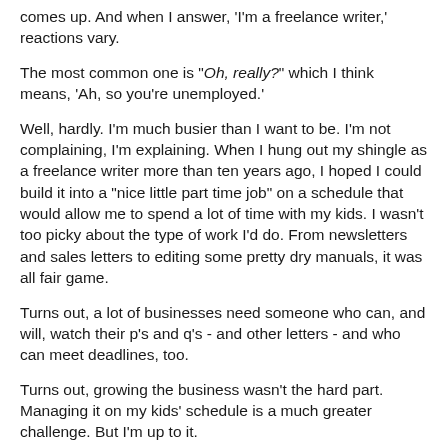comes up. And when I answer, 'I'm a freelance writer,' reactions vary.
The most common one is "Oh, really?" which I think means, 'Ah, so you're unemployed.'
Well, hardly. I'm much busier than I want to be. I'm not complaining, I'm explaining. When I hung out my shingle as a freelance writer more than ten years ago, I hoped I could build it into a "nice little part time job" on a schedule that would allow me to spend a lot of time with my kids. I wasn't too picky about the type of work I'd do. From newsletters and sales letters to editing some pretty dry manuals, it was all fair game.
Turns out, a lot of businesses need someone who can, and will, watch their p's and q's - and other letters - and who can meet deadlines, too.
Turns out, growing the business wasn't the hard part. Managing it on my kids' schedule is a much greater challenge. But I'm up to it.